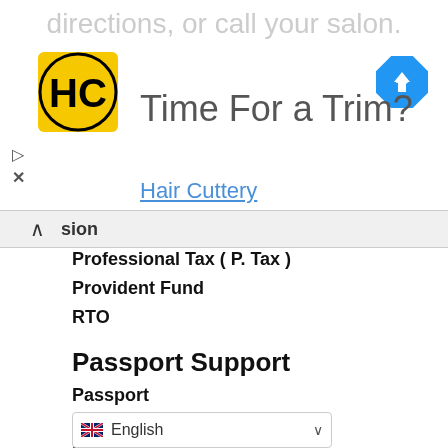[Figure (illustration): Ad banner for Hair Cuttery with HC logo, navigation arrow, Time For a Trim? text, play and close icons, and Hair Cuttery subtitle link]
sion
Professional Tax ( P. Tax )
Provident Fund
RTO
Passport Support
Passport
Passport Address Change
Passport Annexure | Affidavit
Passport Application Form
Passport Appointment
Passport Documents Required
English